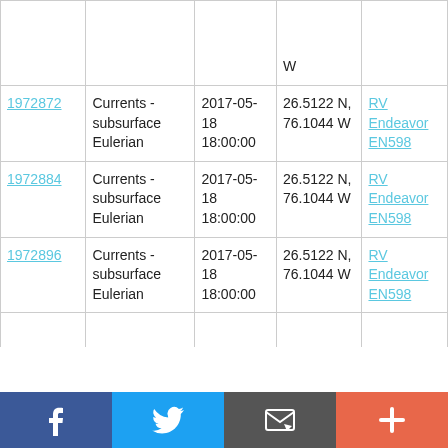| ID | Type | Date | Location | Platform |
| --- | --- | --- | --- | --- |
|  |  |  | W |  |
| 1972872 | Currents - subsurface Eulerian | 2017-05-18 18:00:00 | 26.5122 N, 76.1044 W | RV Endeavor EN598 |
| 1972884 | Currents - subsurface Eulerian | 2017-05-18 18:00:00 | 26.5122 N, 76.1044 W | RV Endeavor EN598 |
| 1972896 | Currents - subsurface Eulerian | 2017-05-18 18:00:00 | 26.5122 N, 76.1044 W | RV Endeavor EN598 |
Facebook | Twitter | Email | +